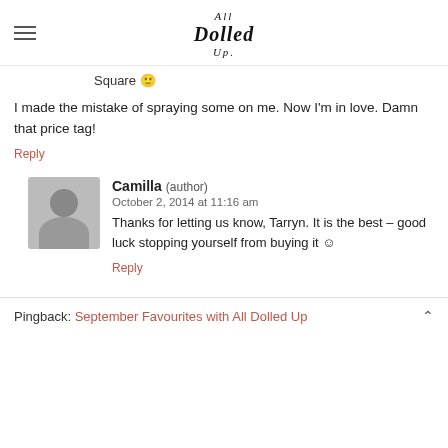All Dolled Up
Square 🙂
I made the mistake of spraying some on me. Now I'm in love. Damn that price tag!
Reply
[Figure (illustration): Grey avatar placeholder image showing a silhouette of a person]
Camilla (author)
October 2, 2014 at 11:16 am
Thanks for letting us know, Tarryn. It is the best – good luck stopping yourself from buying it ☺
Reply
Pingback: September Favourites with All Dolled Up